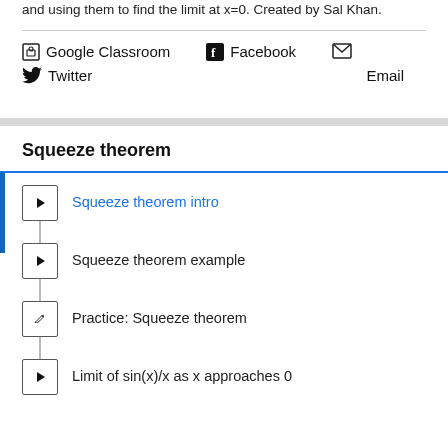and using them to find the limit at x=0. Created by Sal Khan.
Google Classroom  Facebook  Twitter  Email
Squeeze theorem
Squeeze theorem intro
Squeeze theorem example
Practice: Squeeze theorem
Limit of sin(x)/x as x approaches 0